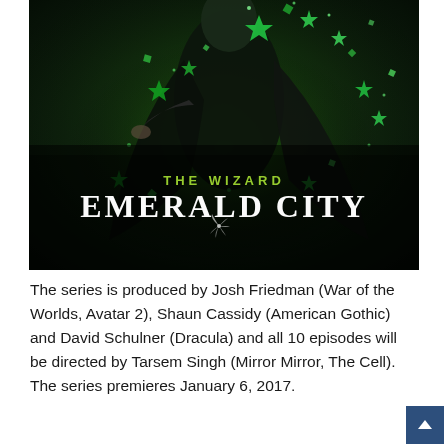[Figure (illustration): Promotional poster for NBC TV series 'Emerald City' showing a robed figure in black surrounded by swirling green gemstones/emeralds against a dark background. Text reads 'THE WIZARD' in yellow-green and 'EMERALD CITY' in large white serif letters, with the NBC peacock logo below.]
The series is produced by Josh Friedman (War of the Worlds, Avatar 2), Shaun Cassidy (American Gothic) and David Schulner (Dracula) and all 10 episodes will be directed by Tarsem Singh (Mirror Mirror, The Cell). The series premieres January 6, 2017.